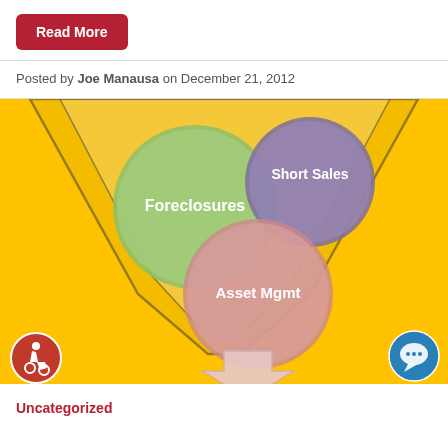Read More
Posted by Joe Manausa on December 21, 2012
[Figure (infographic): Funnel infographic on yellow background showing three circles: Foreclosures (green), Short Sales (purple), Asset Mgmt (pink/rose), with a downward arrow at the bottom, representing a real estate asset management funnel.]
Uncategorized